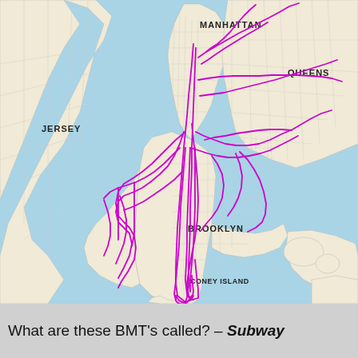[Figure (map): A street map of New York City showing the BMT (Brooklyn-Manhattan Transit) subway lines overlaid in magenta/pink. The map shows Manhattan, Brooklyn, Queens, Jersey, and Coney Island. The subway lines form a dense network centered in Brooklyn and extending into Manhattan and Queens, with a notable loop at Coney Island in the south. Land is shown in light cream/beige, water in light blue.]
What are these BMT's called? – Subway